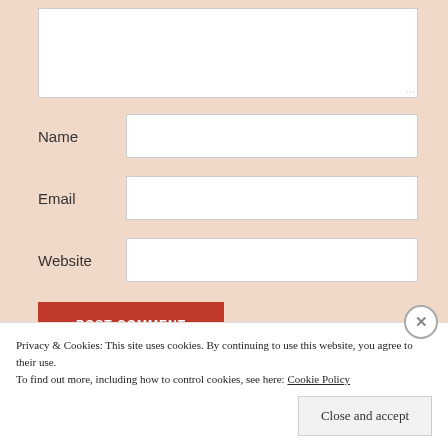[Figure (screenshot): Web form with text area (partially visible at top), Name field, Email field, Website field, and a red POST COMMENT button on a peach/salmon background]
Name
Email
Website
POST COMMENT
Privacy & Cookies: This site uses cookies. By continuing to use this website, you agree to their use.
To find out more, including how to control cookies, see here: Cookie Policy
Close and accept